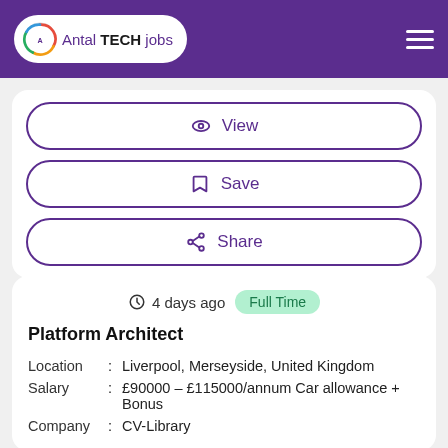Antal TECH jobs
View
Save
Share
4 days ago  Full Time
Platform Architect
| Field |  | Value |
| --- | --- | --- |
| Location | : | Liverpool, Merseyside, United Kingdom |
| Salary | : | £90000 - £115000/annum Car allowance + Bonus |
| Company | : | CV-Library |